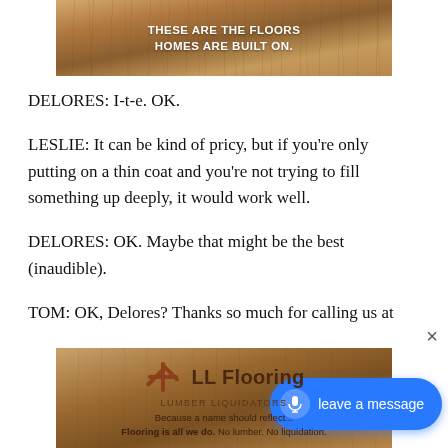[Figure (photo): Top banner: wood flooring texture photo with white bold text overlay reading THESE ARE THE FLOORS HOMES ARE BUILT ON.]
DELORES: I-t-e. OK.
LESLIE: It can be kind of pricy, but if you're only putting on a thin coat and you're not trying to fill something up deeply, it would work well.
DELORES: OK. Maybe that might be the best (inaudible).
TOM: OK, Delores? Thanks so much for calling us at
[Figure (logo): Bottom advertisement banner: wood flooring texture with LL Flooring (Lumber Liquidators) logo and text: Because a name should reflect... Flooring is all we do. No lumber. No liquidation. A blue 'leave a message' button overlays the bottom right.]